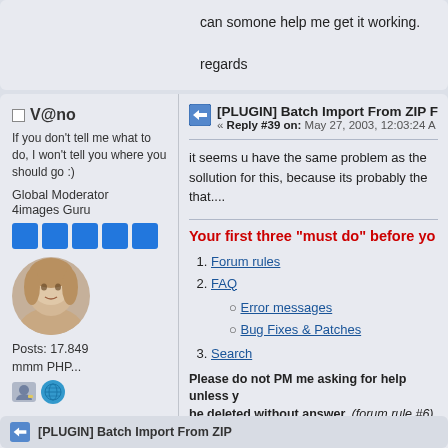can somone help me get it working.

regards
V@no
If you don't tell me what to do, I won't tell you where you should go :)
Global Moderator
4images Guru
Posts: 17.849
mmm PHP...
[PLUGIN] Batch Import From ZIP F...
« Reply #39 on: May 27, 2003, 12:03:24 A...
it seems u have the same problem as the... sollution for this, because its probably the... that....
Your first three "must do" before yo...
1. Forum rules
2. FAQ
Error messages
Bug Fixes & Patches
3. Search
Please do not PM me asking for help unless y... be deleted without answer. (forum rule #6)
Extension for Firefox/Thunderbird: Master Password+  Back/Forward History...
[PLUGIN] Batch Import From ZIP...